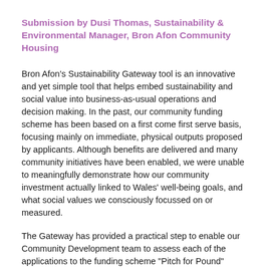Submission by Dusi Thomas, Sustainability & Environmental Manager, Bron Afon Community Housing
Bron Afon's Sustainability Gateway tool is an innovative and yet simple tool that helps embed sustainability and social value into business-as-usual operations and decision making. In the past, our community funding scheme has been based on a first come first serve basis, focusing mainly on immediate, physical outputs proposed by applicants. Although benefits are delivered and many community initiatives have been enabled, we were unable to meaningfully demonstrate how our community investment actually linked to Wales' well-being goals, and what social values we consciously focussed on or measured.
The Gateway has provided a practical step to enable our Community Development team to assess each of the applications to the funding scheme "Pitch for Pound" through the lens of Wales' well-being goals and sustainability.